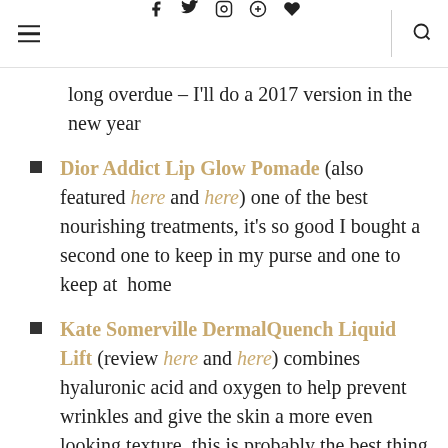Navigation header with menu, social icons (f, t, instagram, pinterest, heart), divider, and search icon
long overdue – I'll do a 2017 version in the new year
Dior Addict Lip Glow Pomade (also featured here and here) one of the best nourishing treatments, it's so good I bought a second one to keep in my purse and one to keep at home
Kate Somerville DermalQuench Liquid Lift (review here and here) combines hyaluronic acid and oxygen to help prevent wrinkles and give the skin a more even looking texture, this is probably the best thing I have discovered in skincare
Kate Somerville EradiKate Acne